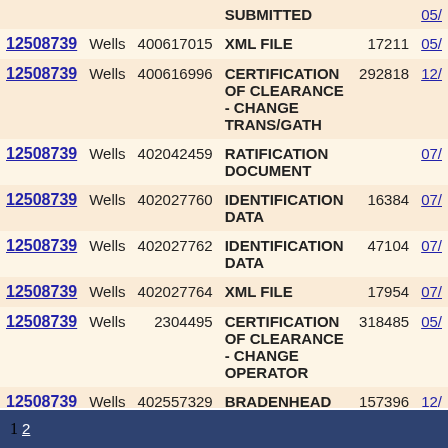| ID | Type | Doc Number | Document Type | Size | Date |
| --- | --- | --- | --- | --- | --- |
|  |  |  | SUBMITTED |  | 05/ |
| 12508739 | Wells | 400617015 | XML FILE | 17211 | 05/ |
| 12508739 | Wells | 400616996 | CERTIFICATION OF CLEARANCE - CHANGE TRANS/GATH | 292818 | 12/ |
| 12508739 | Wells | 402042459 | RATIFICATION DOCUMENT |  | 07/ |
| 12508739 | Wells | 402027760 | IDENTIFICATION DATA | 16384 | 07/ |
| 12508739 | Wells | 402027762 | IDENTIFICATION DATA | 47104 | 07/ |
| 12508739 | Wells | 402027764 | XML FILE | 17954 | 07/ |
| 12508739 | Wells | 2304495 | CERTIFICATION OF CLEARANCE - CHANGE OPERATOR | 318485 | 05/ |
| 12508739 | Wells | 402557329 | BRADENHEAD TEST REPORT | 157396 | 12/ |
1 2